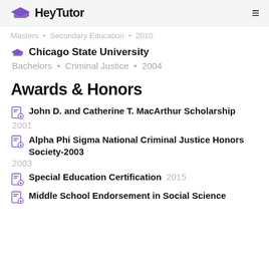HeyTutor
Masters • Secondary Education • 2010
Chicago State University
Bachelors • Criminal Justice • 2004
Awards & Honors
John D. and Catherine T. MacArthur Scholarship
2001
Alpha Phi Sigma National Criminal Justice Honors Society-2003
2003
Special Education Certification 2015
Middle School Endorsement in Social Science